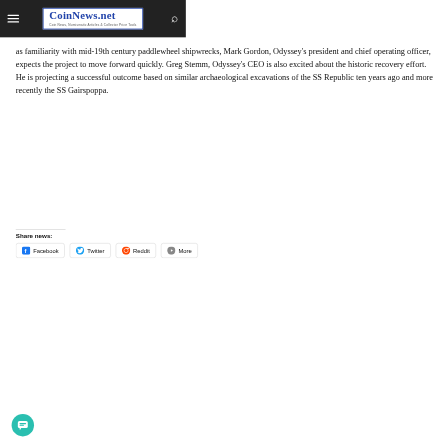CoinNews.net — Coin News, Numismatic Articles & Collector Price Tools
as familiarity with mid-19th century paddlewheel shipwrecks, Mark Gordon, Odyssey's president and chief operating officer, expects the project to move forward quickly. Greg Stemm, Odyssey's CEO is also excited about the historic recovery effort. He is projecting a successful outcome based on similar archaeological excavations of the SS Republic ten years ago and more recently the SS Gairspoppa.
Share news:
Facebook  Twitter  Reddit  More